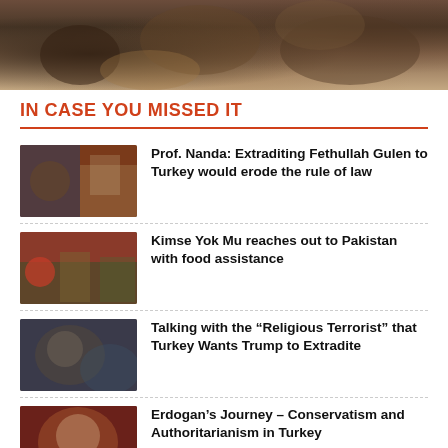[Figure (photo): Top image showing hands reaching out, crowded scene with multiple people's hands visible]
IN CASE YOU MISSED IT
Prof. Nanda: Extraditing Fethullah Gulen to Turkey would erode the rule of law
Kimse Yok Mu reaches out to Pakistan with food assistance
Talking with the “Religious Terrorist” that Turkey Wants Trump to Extradite
Erdogan’s Journey – Conservatism and Authoritarianism in Turkey
AK Party gov’t searches for scapegoat for stalled PKK talks